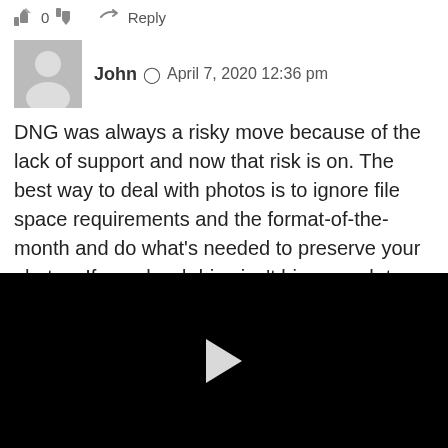👍 0 👎  ➤ Reply
[Figure (illustration): Gray avatar placeholder icon showing a generic person silhouette]
John 🕐 April 7, 2020 12:36 pm
DNG was always a risky move because of the lack of support and now that risk is on. The best way to deal with photos is to ignore file space requirements and the format-of-the-month and do what's needed to preserve your photos. If your hard drive isn't big enough to store them all, get a bigger drive. If you can't afford a bigger drive than you underestimated the
[Figure (other): Black video player area with a white play button triangle in the center]